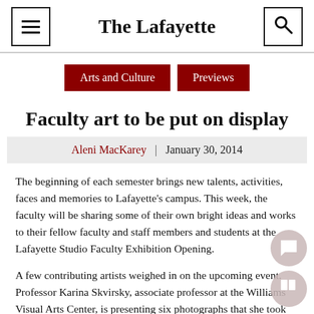The Lafayette
Arts and Culture | Previews
Faculty art to be put on display
Aleni MacKarey | January 30, 2014
The beginning of each semester brings new talents, activities, faces and memories to Lafayette's campus. This week, the faculty will be sharing some of their own bright ideas and works to their fellow faculty and staff members and students at the Lafayette Studio Faculty Exhibition Opening.
A few contributing artists weighed in on the upcoming event. Professor Karina Skvirsky, associate professor at the Williams Visual Arts Center, is presenting six photographs that she took last year and the Holland. Template for blah before the aside.